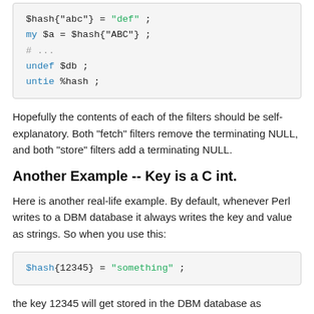[Figure (other): Code block showing Perl hash operations: $hash{"abc"} = "def" ; my $a = $hash{"ABC"} ; # ... undef $db ; untie %hash ;]
Hopefully the contents of each of the filters should be self-explanatory. Both "fetch" filters remove the terminating NULL, and both "store" filters add a terminating NULL.
Another Example -- Key is a C int.
Here is another real-life example. By default, whenever Perl writes to a DBM database it always writes the key and value as strings. So when you use this:
[Figure (other): Code block showing: $hash{12345} = "something" ;]
the key 12345 will get stored in the DBM database as